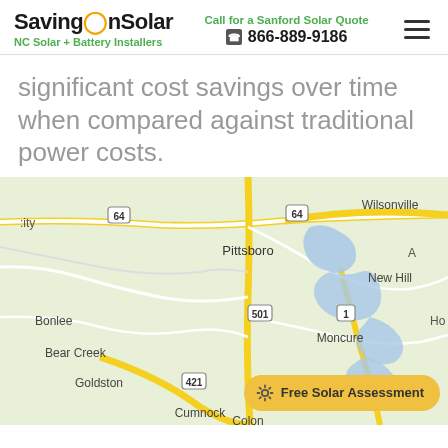SavingOnSolar — NC Solar + Battery Installers | Call for a Sanford Solar Quote 866-889-9186
significant cost savings over time when compared against traditional power costs.
[Figure (map): Google Maps view showing Pittsboro, NC area with surrounding towns including Wilsonville, New Hill, Bonlee, Bear Creek, Goldston, Moncure, Cumnock, Colon, and route markers for highways 64, 501, 421, and 1.]